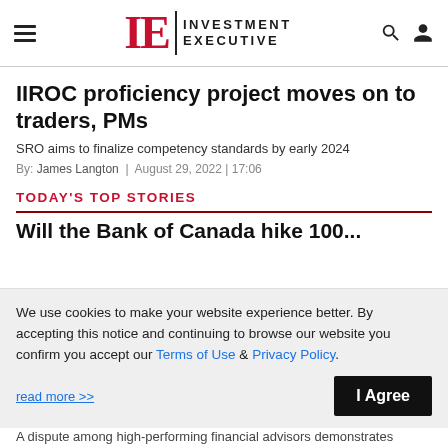Investment Executive
IIROC proficiency project moves on to traders, PMs
SRO aims to finalize competency standards by early 2024
By: James Langton | August 29, 2022 | 17:06
TODAY'S TOP STORIES
Will the Bank of Canada hike 100...
We use cookies to make your website experience better. By accepting this notice and continuing to browse our website you confirm you accept our Terms of Use & Privacy Policy.
read more >>
I Agree
A dispute among high-performing financial advisors demonstrates